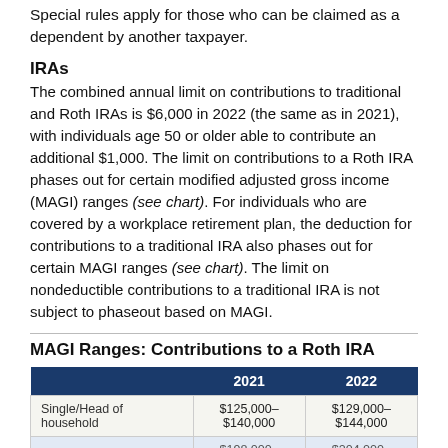Special rules apply for those who can be claimed as a dependent by another taxpayer.
IRAs
The combined annual limit on contributions to traditional and Roth IRAs is $6,000 in 2022 (the same as in 2021), with individuals age 50 or older able to contribute an additional $1,000. The limit on contributions to a Roth IRA phases out for certain modified adjusted gross income (MAGI) ranges (see chart). For individuals who are covered by a workplace retirement plan, the deduction for contributions to a traditional IRA also phases out for certain MAGI ranges (see chart). The limit on nondeductible contributions to a traditional IRA is not subject to phaseout based on MAGI.
MAGI Ranges: Contributions to a Roth IRA
|  | 2021 | 2022 |
| --- | --- | --- |
| Single/Head of household | $125,000–$140,000 | $129,000–$144,000 |
| Married filing jointly | $198,000–$208,000 | $204,000–$214,000 |